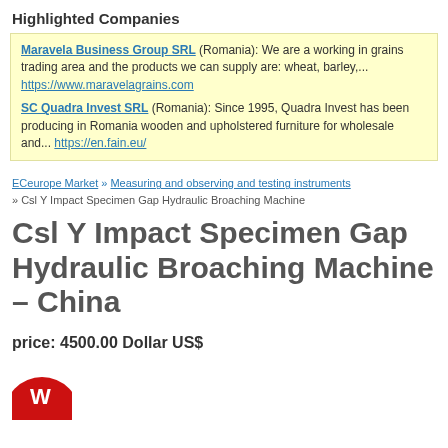Highlighted Companies
Maravela Business Group SRL (Romania): We are a working in grains trading area and the products we can supply are: wheat, barley,... https://www.mravelagrains.com
SC Quadra Invest SRL (Romania): Since 1995, Quadra Invest has been producing in Romania wooden and upholstered furniture for wholesale and... https://en.fain.eu/
ECeurope Market » Measuring and observing and testing instruments » Csl Y Impact Specimen Gap Hydraulic Broaching Machine
Csl Y Impact Specimen Gap Hydraulic Broaching Machine – China
price: 4500.00 Dollar US$
[Figure (logo): Red circular logo partially visible at bottom]